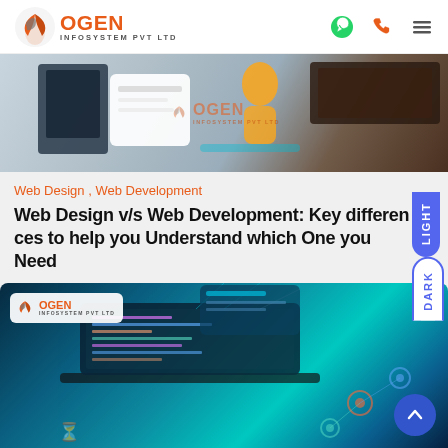Ogen Infosystem PVT LTD
[Figure (illustration): Website design illustration showing tablet/laptop devices with colorful design elements and Ogen Infosystem PVT LTD watermark on a grey-blue background]
Web Design ,  Web Development
Web Design v/s Web Development: Key differences to help you Understand which One you Need
[Figure (photo): Dark blue/teal tech photo showing a laptop with holographic code/UI projections and digital network nodes, with Ogen Infosystem PVT LTD watermark]